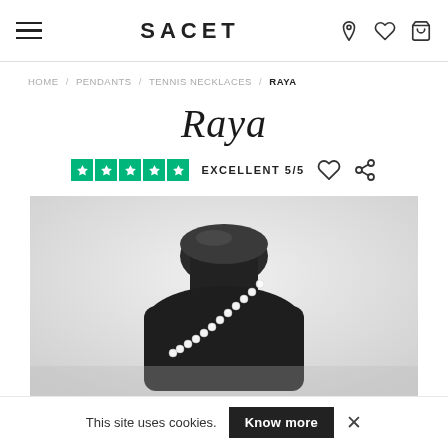SACET
HOME / PENDANTS / TENNIS NECKLACES / RAYA
Raya
EXCELLENT 5/5
[Figure (photo): A diamond tennis necklace displayed on a black jewelry bust/mannequin neck form against a light gray background.]
This site uses cookies. Know more ×